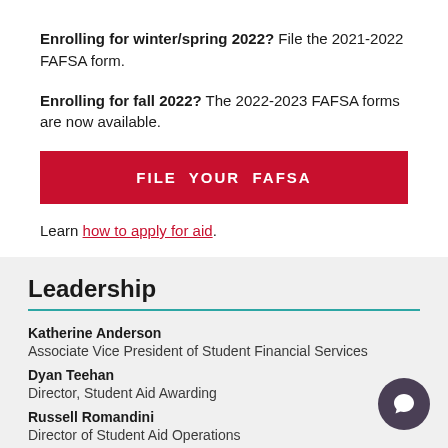Enrolling for winter/spring 2022? File the 2021-2022 FAFSA form.
Enrolling for fall 2022? The 2022-2023 FAFSA forms are now available.
FILE YOUR FAFSA
Learn how to apply for aid.
Leadership
Katherine Anderson
Associate Vice President of Student Financial Services
Dyan Teehan
Director, Student Aid Awarding
Russell Romandini
Director of Student Aid Operations